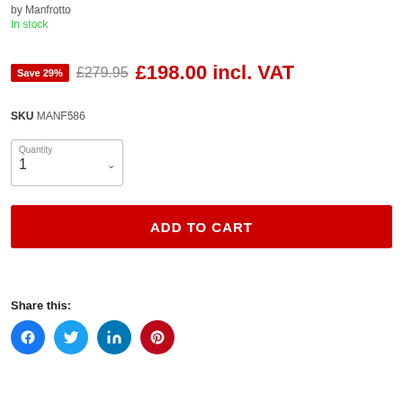by Manfrotto
In stock
Save 29% £279.95 £198.00 incl. VAT
SKU MANF586
Quantity 1
ADD TO CART
Share this:
[Figure (other): Social media share icons: Facebook, Twitter, LinkedIn, Pinterest]